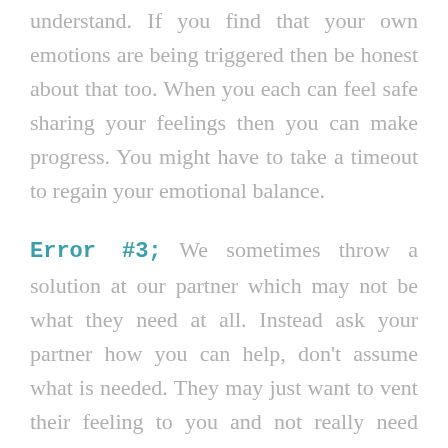understand. If you find that your own emotions are being triggered then be honest about that too. When you each can feel safe sharing your feelings then you can make progress. You might have to take a timeout to regain your emotional balance.
Error #3;  We sometimes throw a solution at our partner which may not be what they need at all. Instead ask your partner how you can help, don't assume what is needed. They may just want to vent their feeling to you and not really need anything done. You won't know exactly how you can